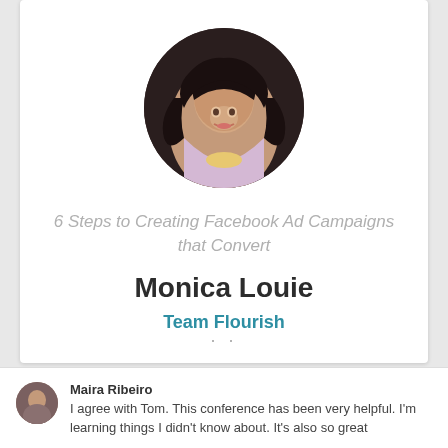[Figure (photo): Circular profile photo of a smiling woman with dark wavy hair]
6 Steps to Creating Facebook Ad Campaigns that Convert
Monica Louie
Team Flourish
Maira Ribeiro
I agree with Tom. This conference has been very helpful. I'm learning things I didn't know about. It's also so great